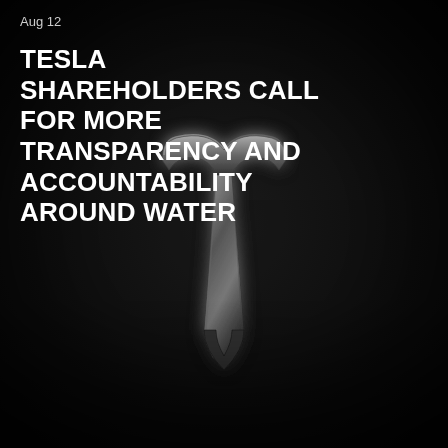Aug 12
TESLA SHAREHOLDERS CALL FOR MORE TRANSPARENCY AND ACCOUNTABILITY AROUND WATER
[Figure (photo): Close-up photograph of the Tesla 'T' logo badge on a dark textured surface, black and white tones, dramatic lighting showing metallic relief detail of the Tesla emblem]